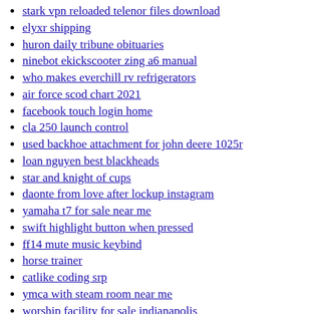stark vpn reloaded telenor files download
elyxr shipping
huron daily tribune obituaries
ninebot ekickscooter zing a6 manual
who makes everchill rv refrigerators
air force scod chart 2021
facebook touch login home
cla 250 launch control
used backhoe attachment for john deere 1025r
loan nguyen best blackheads
star and knight of cups
daonte from love after lockup instagram
yamaha t7 for sale near me
swift highlight button when pressed
ff14 mute music keybind
horse trainer
catlike coding srp
ymca with steam room near me
worship facility for sale indianapolis
public university salaries
non custodial parent moving out of state georgia
x shot water gun
senior software engineering manager salary
the daily star obits for tuesday
houses for rent in metairie